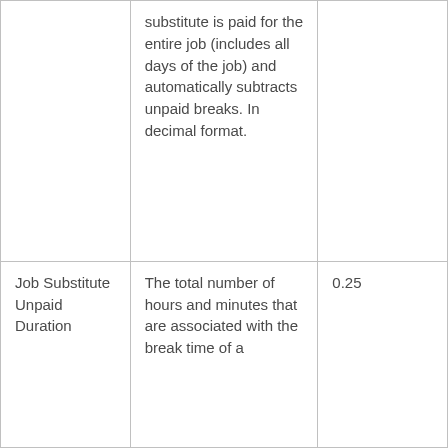|  | substitute is paid for the entire job (includes all days of the job) and automatically subtracts unpaid breaks. In decimal format. |  |
| Job Substitute Unpaid Duration | The total number of hours and minutes that are associated with the break time of a | 0.25 |